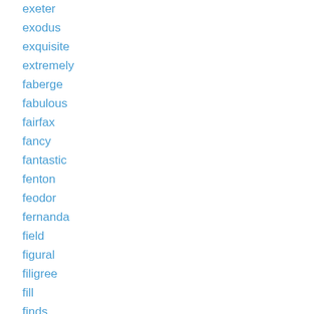exeter
exodus
exquisite
extremely
faberge
fabulous
fairfax
fancy
fantastic
fenton
feodor
fernanda
field
figural
filigree
fill
finds